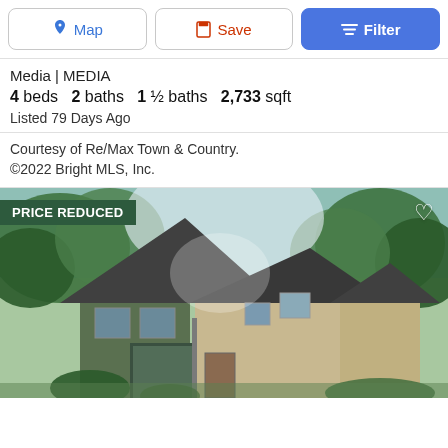Map | Save | Filter
Media | MEDIA
4 beds  2 baths  1 ½ baths  2,733 sqft
Listed 79 Days Ago
Courtesy of Re/Max Town & Country.
©2022 Bright MLS, Inc.
[Figure (photo): Exterior photo of a two-story house with dark roof, beige/tan siding, surrounded by trees. A green banner overlay reads PRICE REDUCED in white text. A heart icon appears in the top right corner.]